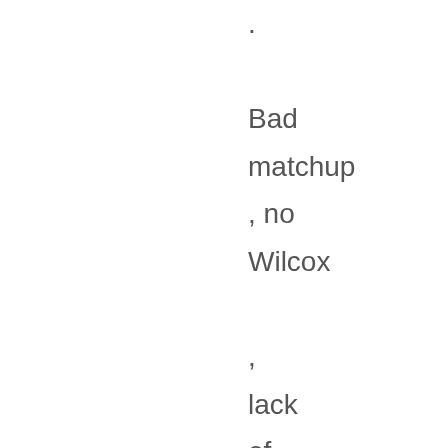. Bad matchup, no Wilcox, lack of muscle in the paint. Maybe some Celtic luck will pop up on